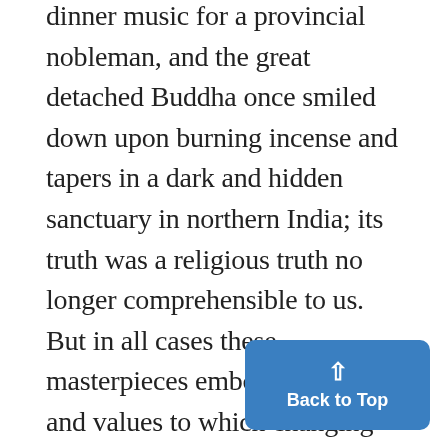dinner music for a provincial nobleman, and the great detached Buddha once smiled down upon burning incense and tapers in a dark and hidden sanctuary in northern India; its truth was a religious truth no longer comprehensible to us. But in all cases these masterpieces embodied truths and values to which changing generations give shifting importance. No one truth is enduring in art.
No one truth is enduring, I have said; but there is one truth tha That truth is the truth of mate painting is pigment dispe sed upon